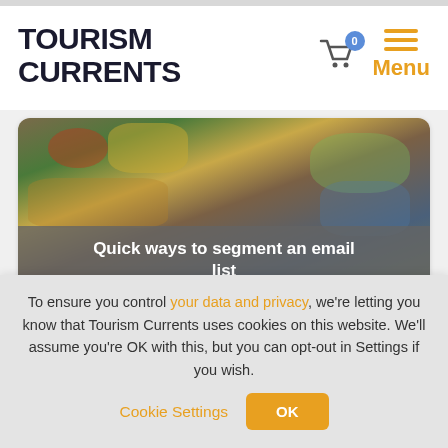TOURISM CURRENTS
[Figure (screenshot): Article card with food/colorful background image and overlay text: Quick ways to segment an email list]
Quick ways to segment an email list
[Figure (photo): Article card with two women posing in front of vintage aircraft with overlay text: How to work with Tourism Currents...]
How to work with Tourism Currents...
To ensure you control your data and privacy, we're letting you know that Tourism Currents uses cookies on this website. We'll assume you're OK with this, but you can opt-out in Settings if you wish.
Cookie Settings
OK